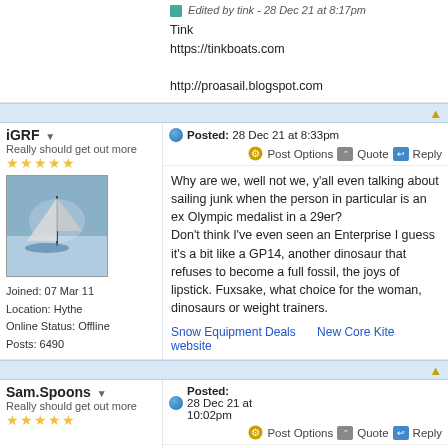Edited by tink - 28 Dec 21 at 8:17pm
Tink
https://tinkboats.com

http://proasail.blogspot.com
iGRF
Really should get out more
Joined: 07 Mar 11
Location: Hythe
Online Status: Offline
Posts: 6490
Posted: 28 Dec 21 at 8:33pm
Why are we, well not we, y'all even talking about sailing junk when the person in particular is an ex Olympic medalist in a 29er?
Don't think I've even seen an Enterprise I guess it's a bit like a GP14, another dinosaur that refuses to become a full fossil, the joys of lipstick. Fuxsake, what choice for the woman, dinosaurs or weight trainers.
Snow Equipment Deals    New Core Kite website
Sam.Spoons
Really should get out more
Joined: 07 Mar 12
Location: Manchester UK
Online Status: Offline
Posts: 3341
Posted: 28 Dec 21 at 10:02pm
It depends on what the OP plans, which is to introduce her non-sailor husband and three small children to the joys of dinghy sailing, a 29er, great boat that it is for the right sailors, is not the boat for that.